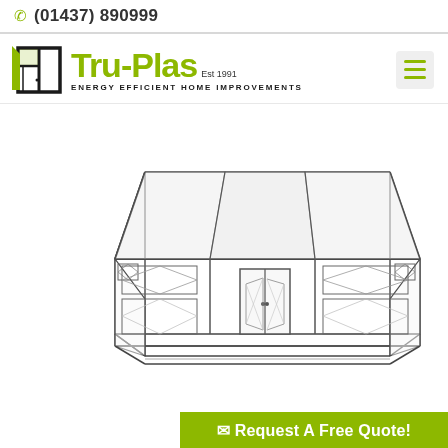(01437) 890999
[Figure (logo): Tru-Plas logo with window/door icon and tagline 'Energy Efficient Home Improvements', Est 1991]
[Figure (engineering-diagram): Line drawing of a lean-to conservatory/sunroom from isometric perspective, showing glazed roof panels, double doors, side windows with diamond pattern, and structural frame]
Request A Free Quote!